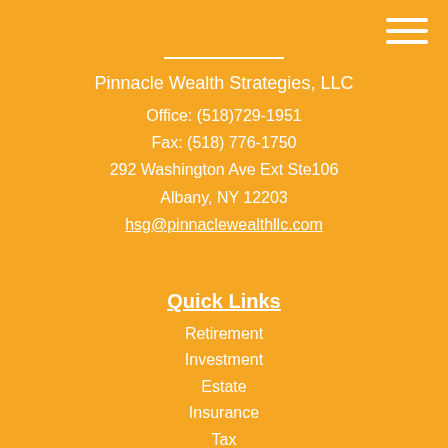[Figure (other): Hamburger menu icon with three white horizontal lines in top-right corner]
Pinnacle Wealth Strategies, LLC
Office: (518)729-1951
Fax: (518) 776-1750
292 Washington Ave Ext Ste106
Albany, NY 12203
hsg@pinnaclewealthllc.com
Quick Links
Retirement
Investment
Estate
Insurance
Tax
Money
Lifestyle
All Articles
All Videos
All Calculators